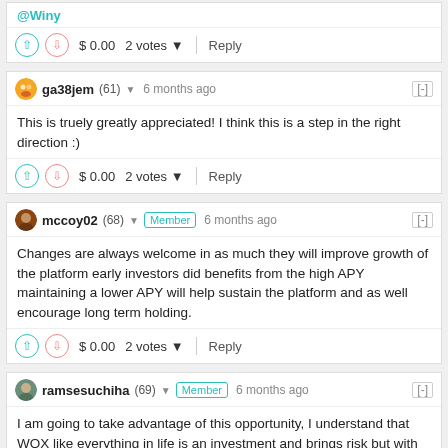@Winy
$ 0.00   2 votes   Reply
ga38jem (61)  6 months ago
This is truely greatly appreciated! I think this is a step in the right direction :)
$ 0.00   2 votes   Reply
mccoy02 (68)  Member  6 months ago
Changes are always welcome in as much they will improve growth of the platform early investors did benefits from the high APY maintaining a lower APY will help sustain the platform and as well encourage long term holding.
$ 0.00   2 votes   Reply
ramsesuchiha (69)  Member  6 months ago
I am going to take advantage of this opportunity, I understand that WOX like everything in life is an investment and brings risk but with that APY if it is successful I can earn good money and with the team behind wox I know that everything will turn out well
$ 0.00   1 vote   Reply